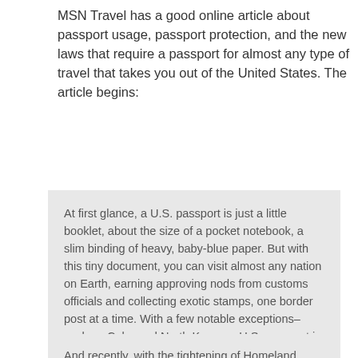MSN Travel has a good online article about passport usage, passport protection, and the new laws that require a passport for almost any type of travel that takes you out of the United States. The article begins:
At first glance, a U.S. passport is just a little booklet, about the size of a pocket notebook, a slim binding of heavy, baby-blue paper. But with this tiny document, you can visit almost any nation on Earth, earning approving nods from customs officials and collecting exotic stamps, one border post at a time. With a few notable exceptions–such as Cuba and North Korea–a U.S. passport is respected in almost every harbor and airport on the globe.
And recently, with the tightening of Homeland Security, your passport isn't just a ticket to